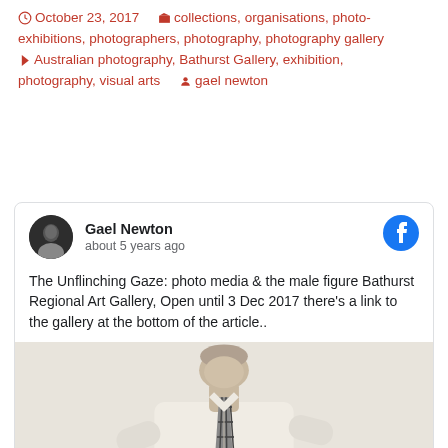October 23, 2017   collections, organisations, photo-exhibitions, photographers, photography, photography gallery   Australian photography, Bathurst Gallery, exhibition, photography, visual arts   gael newton
[Figure (screenshot): Facebook post by Gael Newton about 5 years ago, with profile photo and Facebook icon, containing text: 'The Unflinching Gaze: photo media & the male figure Bathurst Regional Art Gallery, Open until 3 Dec 2017 there's a link to the gallery at the bottom of the article..' and a black-and-white photograph of a person wearing a white shirt and plaid tie, head tilted back.]